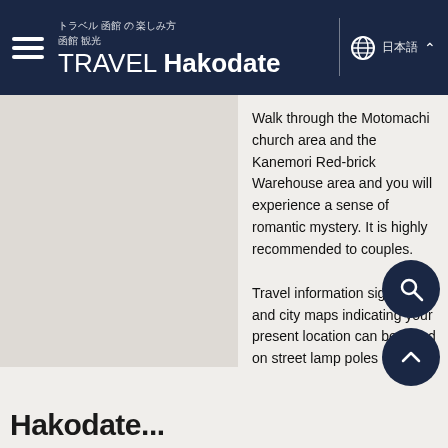TRAVEL Hakodate
Walk through the Motomachi church area and the Kanemori Red-brick Warehouse area and you will experience a sense of romantic mystery. It is highly recommended to couples.
Travel information signboards and city maps indicating your present location can be found on street lamp poles or at street corners.
This is the Meijikan located next to Kanemori Red-brick Warehouse. It is a historical building, over 100 years old, where a wide range of local souvenirs, and a Teddy Bear sho can be found.
Hakodate...